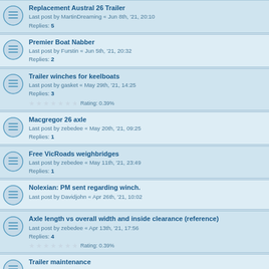Replacement Austral 26 Trailer
Last post by MartinDreaming « Jun 8th, '21, 20:10
Replies: 5
Premier Boat Nabber
Last post by Furstin « Jun 5th, '21, 20:32
Replies: 2
Trailer winches for keelboats
Last post by gasket « May 29th, '21, 14:25
Replies: 3
Rating: 0.39%
Macgregor 26 axle
Last post by zebedee « May 20th, '21, 09:25
Replies: 1
Free VicRoads weighbridges
Last post by zebedee « May 11th, '21, 23:49
Replies: 1
Nolexian: PM sent regarding winch.
Last post by Davidjohn « Apr 26th, '21, 10:02
Axle length vs overall width and inside clearance (reference)
Last post by zebedee « Apr 13th, '21, 17:56
Replies: 4
Rating: 0.39%
Trailer maintenance
Last post by Rcracing2 « Apr 1st, '21, 15:01
Replies: 24
Rating: 0.39%
Isuzu NLS and NLR as tow vehicles
Last post by rseydler « Feb 24th, '21, 18:51